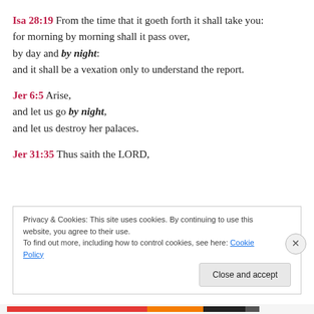Isa 28:19 From the time that it goeth forth it shall take you: for morning by morning shall it pass over, by day and by night: and it shall be a vexation only to understand the report.
Jer 6:5 Arise, and let us go by night, and let us destroy her palaces.
Jer 31:35 Thus saith the LORD,
Privacy & Cookies: This site uses cookies. By continuing to use this website, you agree to their use. To find out more, including how to control cookies, see here: Cookie Policy
Close and accept